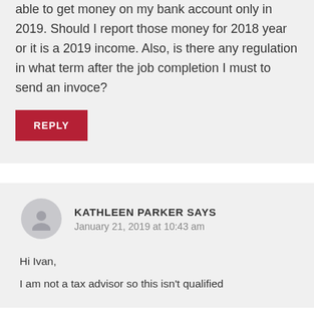able to get money on my bank account only in 2019. Should I report those money for 2018 year or it is a 2019 income. Also, is there any regulation in what term after the job completion I must to send an invoce?
REPLY
KATHLEEN PARKER SAYS
January 21, 2019 at 10:43 am
Hi Ivan,
I am not a tax advisor so this isn't qualified